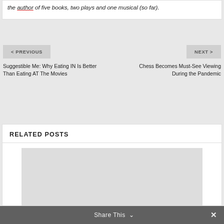the author of five books, two plays and one musical (so far).
< PREVIOUS
NEXT >
Suggestible Me: Why Eating IN Is Better Than Eating AT The Movies
Chess Becomes Must-See Viewing During the Pandemic
RELATED POSTS
[Figure (photo): Placeholder image for related post thumbnail]
Share This ∨  ✕